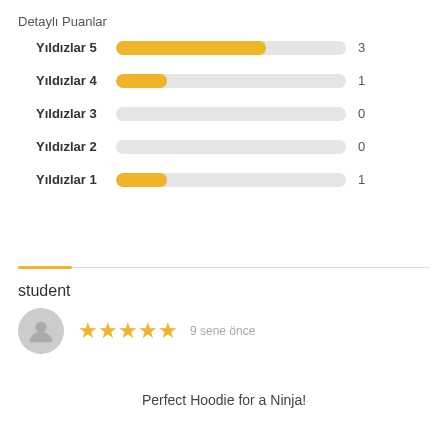Detaylı Puanlar
[Figure (bar-chart): Detaylı Puanlar]
student
[Figure (other): User avatar icon (gray circle with person silhouette) followed by 5 gold stars and '9 sene önce' timestamp]
Perfect Hoodie for a Ninja!